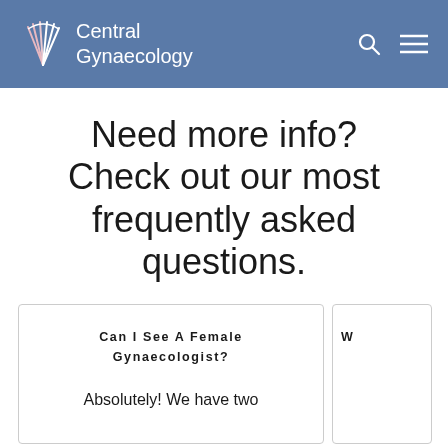Central Gynaecology
Need more info? Check out our most frequently asked questions.
Can I See A Female Gynaecologist?
Absolutely! We have two